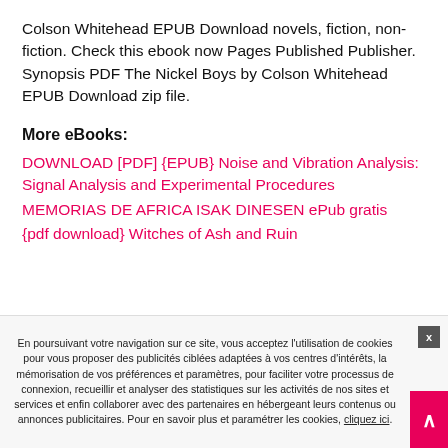Colson Whitehead EPUB Download novels, fiction, non-fiction. Check this ebook now Pages Published Publisher. Synopsis PDF The Nickel Boys by Colson Whitehead EPUB Download zip file.
More eBooks:
DOWNLOAD [PDF] {EPUB} Noise and Vibration Analysis: Signal Analysis and Experimental Procedures
MEMORIAS DE AFRICA ISAK DINESEN ePub gratis
{pdf download} Witches of Ash and Ruin
[Figure (infographic): Social media sharing buttons: Facebook, Twitter, Google+, Reddit, Pinterest, LinkedIn, Tumblr, WhatsApp, Telegram]
En poursuivant votre navigation sur ce site, vous acceptez l'utilisation de cookies pour vous proposer des publicités ciblées adaptées à vos centres d'intérêts, la mémorisation de vos préférences et paramètres, pour faciliter votre processus de connexion, recueillir et analyser des statistiques sur les activités de nos sites et services et enfin collaborer avec des partenaires en hébergeant leurs contenus ou annonces publicitaires. Pour en savoir plus et paramétrer les cookies, cliquez ici.